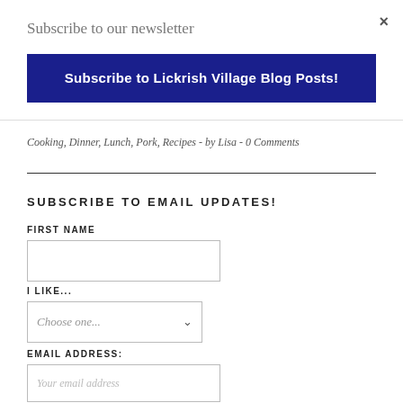×
Subscribe to our newsletter
Subscribe to Lickrish Village Blog Posts!
Cooking, Dinner, Lunch, Pork, Recipes  -  by Lisa  -  0 Comments
SUBSCRIBE TO EMAIL UPDATES!
FIRST NAME
I LIKE...
Choose one...
EMAIL ADDRESS:
Your email address